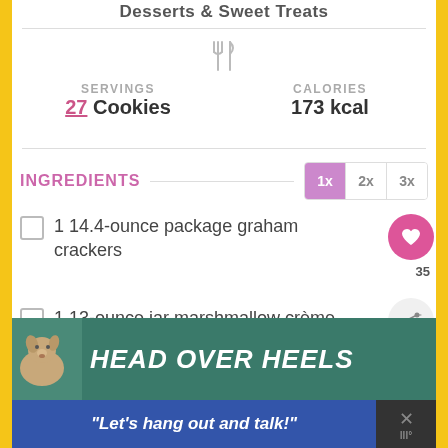Desserts & Sweet Treats
SERVINGS
27 Cookies
CALORIES
173 kcal
INGREDIENTS
1 14.4-ounce package graham crackers
1 13-ounce jar marshmallow crème
1 12-ounce package semi-sweet chocolate chips melted
[Figure (screenshot): HEAD OVER HEELS dog advertisement banner]
"Let's hang out and talk!"